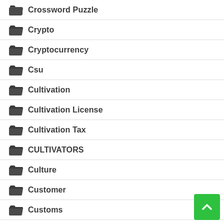Crossword Puzzle
Crypto
Cryptocurrency
Csu
Cultivation
Cultivation License
Cultivation Tax
CULTIVATORS
Culture
Customer
Customs
Cystic Fibrosis
D-10 Thc